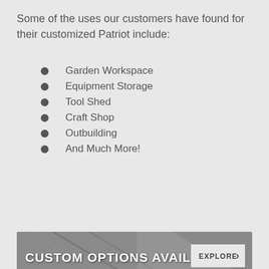Some of the uses our customers have found for their customized Patriot include:
Garden Workspace
Equipment Storage
Tool Shed
Craft Shop
Outbuilding
And Much More!
[Figure (other): Banner with dark roof background reading CUSTOM OPTIONS AVAILABLE with an EXPLORE button]
[Figure (photo): Red barn-style shed with a peaked roof with grey shingles and multiple windows, photographed against a light background]